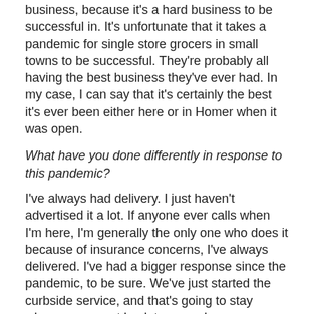business, because it's a hard business to be successful in.  It's unfortunate that it takes a pandemic for single store grocers in small towns to be successful.  They're probably all having the best business they've ever had.  In my case, I can say that it's certainly the best it's ever been either here or in Homer when it was open.
What have you done differently in response to this pandemic?
I've always had delivery.  I just haven't advertised it a lot.  If anyone ever calls when I'm here, I'm generally the only one who does it because of insurance concerns, I've always delivered.  I've had a bigger response since the pandemic, to be sure.  We've just started the curbside service, and that's going to stay whenever we get back to normal or new normal.  We haven't really done a whole lot differently other than just trying to keep everything clean and sanitized.  I've left the face masks as options for the girls if they want to wear them.  Some do and some don't.  Outside of that, there's not much different that I can think of.
How has the mood of your customers been?  Have they been patient?